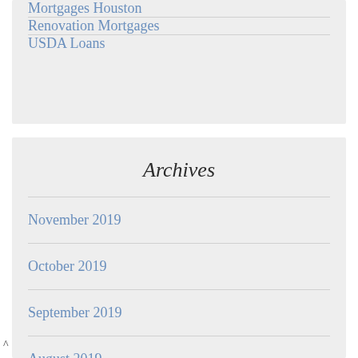Mortgages Houston
Renovation Mortgages
USDA Loans
Archives
November 2019
October 2019
September 2019
August 2019
July 2019
^